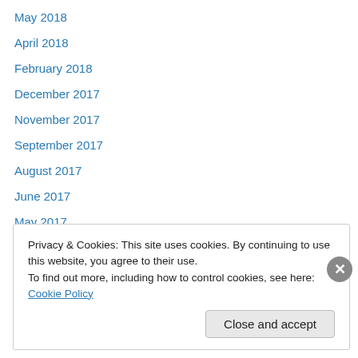May 2018
April 2018
February 2018
December 2017
November 2017
September 2017
August 2017
June 2017
May 2017
April 2017
March 2017
November 2016
October 2016
Privacy & Cookies: This site uses cookies. By continuing to use this website, you agree to their use.
To find out more, including how to control cookies, see here: Cookie Policy
Close and accept